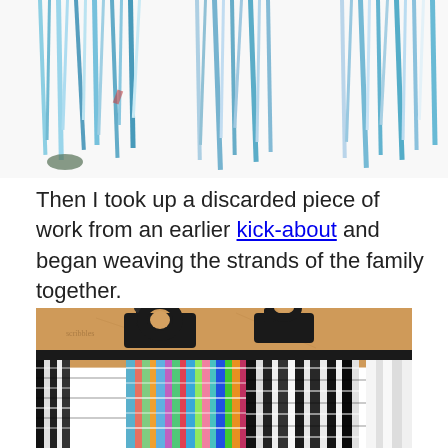[Figure (photo): Top portion of an artwork showing shredded or cut strips of colorful printed material (blues, greens, whites) arranged hanging downward, partially cropped at top of page. White background.]
Then I took up a discarded piece of work from an earlier kick-about and began weaving the strands of the family together.
[Figure (photo): Close-up photo of a weaving artwork held by large black binder clips on a rod against an orange/yellow wall. The woven piece shows vertical strips of colorful printed and black-and-white material woven together in a grid pattern.]